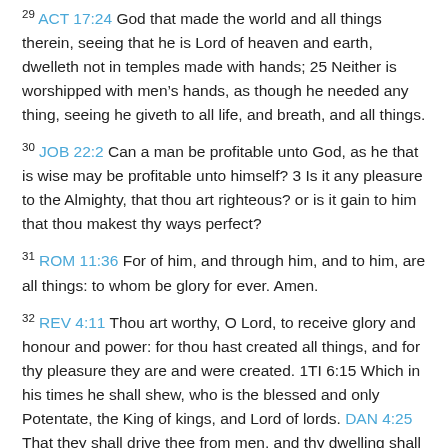29 ACT 17:24 God that made the world and all things therein, seeing that he is Lord of heaven and earth, dwelleth not in temples made with hands; 25 Neither is worshipped with men’s hands, as though he needed any thing, seeing he giveth to all life, and breath, and all things.
30 JOB 22:2 Can a man be profitable unto God, as he that is wise may be profitable unto himself? 3 Is it any pleasure to the Almighty, that thou art righteous? or is it gain to him that thou makest thy ways perfect?
31 ROM 11:36 For of him, and through him, and to him, are all things: to whom be glory for ever. Amen.
32 REV 4:11 Thou art worthy, O Lord, to receive glory and honour and power: for thou hast created all things, and for thy pleasure they are and were created. 1TI 6:15 Which in his times he shall shew, who is the blessed and only Potentate, the King of kings, and Lord of lords. DAN 4:25 That they shall drive thee from men, and thy dwelling shall be with the